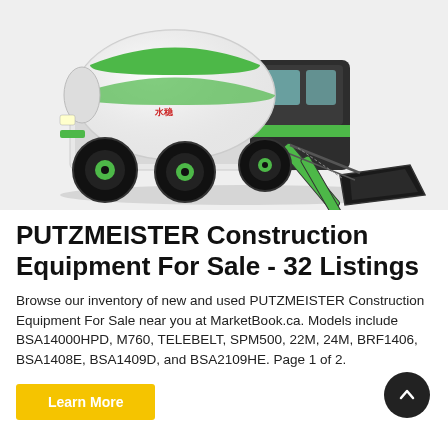[Figure (photo): A green and white PUTZMEISTER self-loading concrete mixer truck with large black tires and a front loading bucket, photographed on a light gray background.]
PUTZMEISTER Construction Equipment For Sale - 32 Listings
Browse our inventory of new and used PUTZMEISTER Construction Equipment For Sale near you at MarketBook.ca. Models include BSA14000HPD, M760, TELEBELT, SPM500, 22M, 24M, BRF1406, BSA1408E, BSA1409D, and BSA2109HE. Page 1 of 2.
Learn More